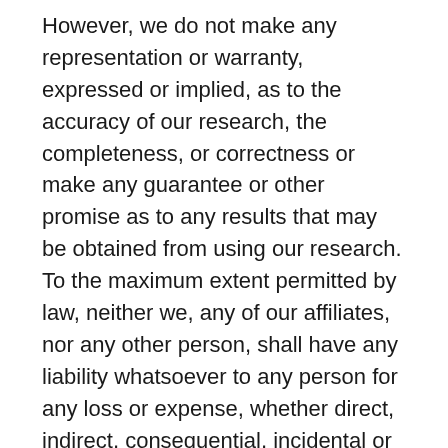However, we do not make any representation or warranty, expressed or implied, as to the accuracy of our research, the completeness, or correctness or make any guarantee or other promise as to any results that may be obtained from using our research. To the maximum extent permitted by law, neither we, any of our affiliates, nor any other person, shall have any liability whatsoever to any person for any loss or expense, whether direct, indirect, consequential, incidental or otherwise, arising from or relating in any way to any use of or reliance on our research or the information contained therein. Some discussions contain forward looking statements which are based on current expectations and differences can be